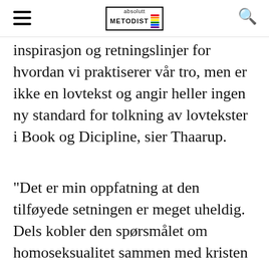absolutt METODIST [rainbow logo] [hamburger menu] [search icon]
inspirasjon og retningslinjer for hvordan vi praktiserer vår tro, men er ikke en lovtekst og angir heller ingen ny standard for tolkning av lovtekster i Book og Dicipline, sier Thaarup.
"Det er min oppfatning at den tilføyede setningen er meget uheldig. Dels kobler den spørsmålet om homoseksualitet sammen med kristen lære og gjør holdningen til